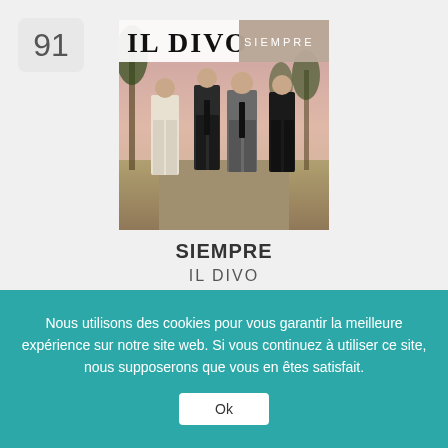91
[Figure (photo): Album cover for 'Siempre' by Il Divo — four men in suits walking outdoors with palm trees and a pinkish sky; 'IL DIVO' in large text top-left and 'SIEMPRE' top-right]
SIEMPRE
IL DIVO
RCA MUSIC GROUP
[Figure (logo): Row of 5 store/service icons: music store icons for various platforms]
Nous utilisons des cookies pour vous garantir la meilleure expérience sur notre site web. Si vous continuez à utiliser ce site, nous supposerons que vous en êtes satisfait.
Ok